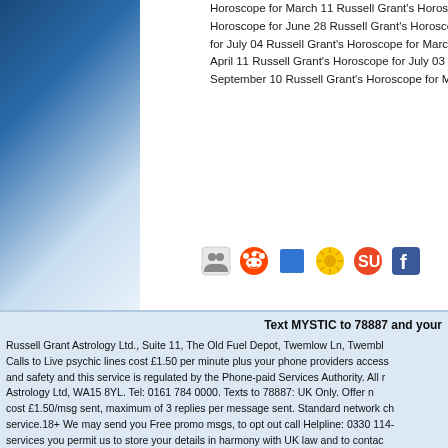Horoscope for March 11  Russell Grant's Horoscope for May  Horoscope for June 28  Russell Grant's Horoscope for April  for July 04  Russell Grant's Horoscope for March 30  Russell  April 11  Russell Grant's Horoscope for July 03  Russell Gra  September 10  Russell Grant's Horoscope for May 12
[Figure (infographic): Row of social sharing icons: a group icon, Reddit alien, Delicious blue squares, a sun/star icon, StumbleUpon icon, and Facebook icon]
Text MYSTIC to 78887 and your
Russell Grant Astrology Ltd., Suite 11, The Old Fuel Depot, Twemlow Ln, Twembl  Calls to Live psychic lines cost £1.50 per minute plus your phone providers access  and safety and this service is regulated by the Phone-paid Services Authority. All r  Astrology Ltd, WA15 8YL. Tel: 0161 784 0000. Texts to 78887: UK Only. Offer n  cost £1.50/msg sent, maximum of 3 replies per message sent. Standard network ch  service.18+ We may send you Free promo msgs, to opt out call Helpline: 0330 114-  services you permit us to store your details in harmony with UK law and to contac
Psychic Readings | Horoscopes and Astrology | Love Astr  How we use Cookies | Privacy Policy/Terms of Use | Co